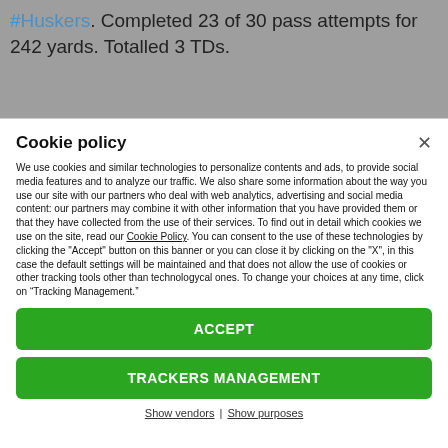#Huskers. Completed 23 of 30 pass attempts for 242 yards. Totalled 3 TDs.
Cookie policy
We use cookies and similar technologies to personalize contents and ads, to provide social media features and to analyze our traffic. We also share some information about the way you use our site with our partners who deal with web analytics, advertising and social media content: our partners may combine it with other information that you have provided them or that they have collected from the use of their services. To find out in detail which cookies we use on the site, read our Cookie Policy. You can consent to the use of these technologies by clicking the "Accept" button on this banner or you can close it by clicking on the "X", in this case the default settings will be maintained and that does not allow the use of cookies or other tracking tools other than technologycal ones. To change your choices at any time, click on “Tracking Management.”
ACCEPT
TRACKERS MANAGEMENT
Show vendors | Show purposes